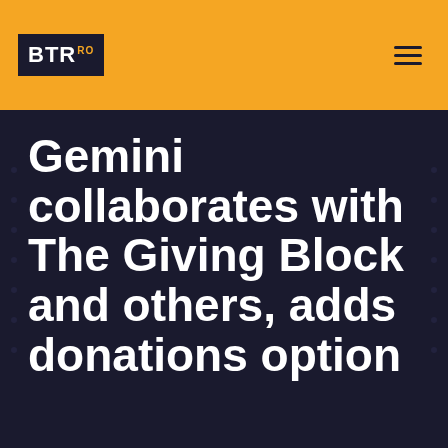BTR.ro
Gemini collaborates with The Giving Block and others, adds donations option